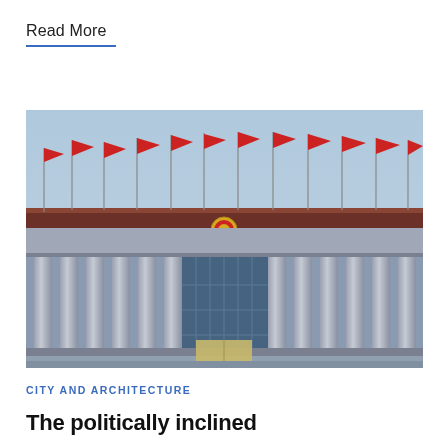Read More
[Figure (photo): Upward-angle photograph of a large government building facade with tall columns, red flags along the roofline, Chinese national emblem at center, and a clear blue sky above. Likely the Great Hall of the People in Beijing.]
CITY AND ARCHITECTURE
The politically inclined